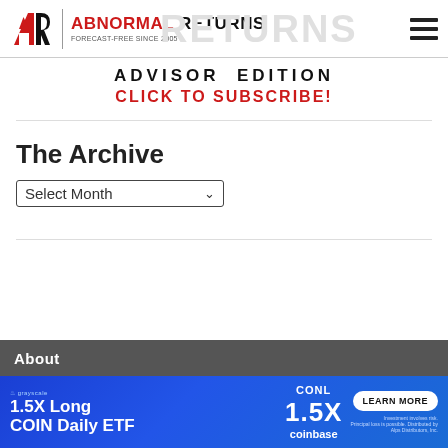ABNORMAL RETURNS | FORECAST-FREE SINCE 2005
ADVISOR EDITION
CLICK TO SUBSCRIBE!
The Archive
Select Month
About
[Figure (other): Advertisement banner: grayscale branding, 1.5X Long COIN Daily ETF, CONL 1.5X, coinbase, LEARN MORE button, investment risks disclaimer, Alps Distributors Inc.]